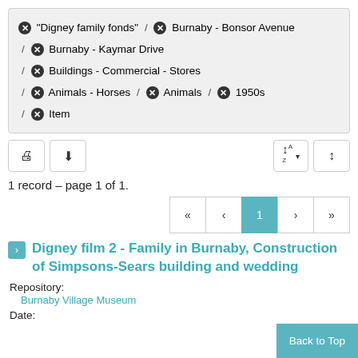"Digney family fonds" / Burnaby - Bonsor Avenue / Burnaby - Kaymar Drive / Buildings - Commercial - Stores / Animals - Horses / Animals / 1950s / Item
[Figure (screenshot): Toolbar with print, download, sort A-Z, and resize buttons]
1 record – page 1 of 1.
[Figure (screenshot): Pagination control showing page 1 of 1 with first, prev, page 1, next, last buttons]
Digney film 2 - Family in Burnaby, Construction of Simpsons-Sears building and wedding
Repository:
Burnaby Village Museum
Date: